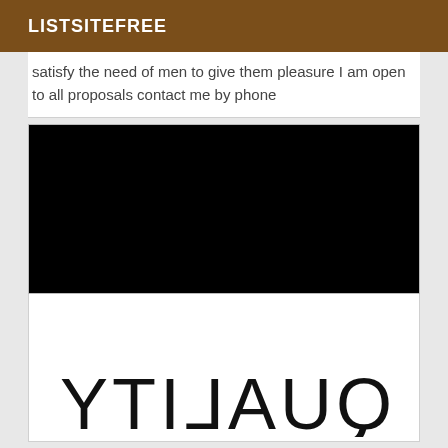LISTSITEFREE
satisfy the need of men to give them pleasure I am open to all proposals contact me by phone
[Figure (photo): Large black rectangle, appears to be a blank or dark image placeholder]
[Figure (logo): Mirrored/reversed text reading QUALITY in large thin sans-serif font on white background]